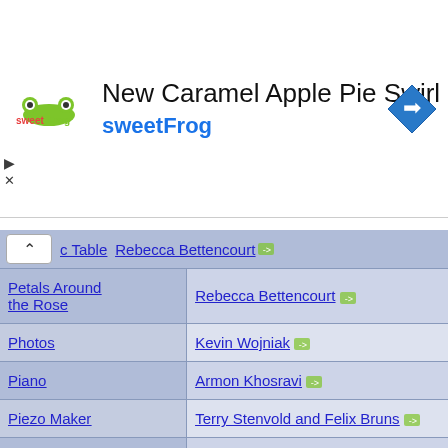[Figure (screenshot): sweetFrog advertisement banner with logo, title 'New Caramel Apple Pie Swirl', subtitle 'sweetFrog', navigation arrow icon, play and close buttons]
| Topic | Author/Link |
| --- | --- |
| Petals Around the Rose | Rebecca Bettencourt -> |
| Photos | Kevin Wojniak -> |
| Piano | Armon Khosravi -> |
| Piezo Maker | Terry Stenvold and Felix Bruns -> |
| Plasma | Felix Bruns -> |
| Pod Pod Revolution | Brandon Smith -> |